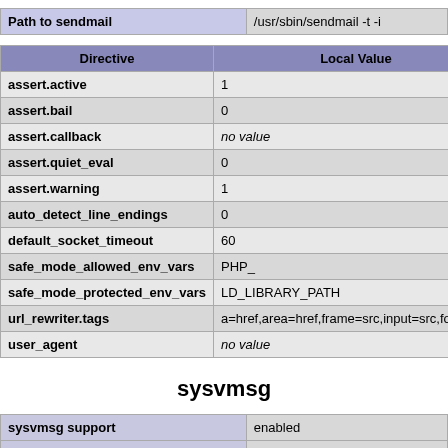| Path to sendmail | /usr/sbin/sendmail -t -i |
| --- | --- |
| Directive | Local Value |
| --- | --- |
| assert.active | 1 |
| assert.bail | 0 |
| assert.callback | no value |
| assert.quiet_eval | 0 |
| assert.warning | 1 |
| auto_detect_line_endings | 0 |
| default_socket_timeout | 60 |
| safe_mode_allowed_env_vars | PHP_ |
| safe_mode_protected_env_vars | LD_LIBRARY_PATH |
| url_rewriter.tags | a=href,area=href,frame=src,input=src,form=,fie |
| user_agent | no value |
sysvmsg
| sysvmsg support | enabled |
| Revision | $Revision: 293036 $ |